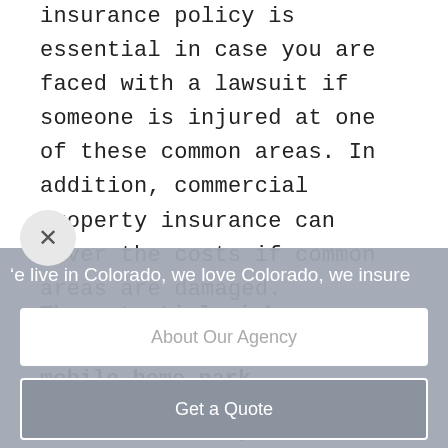insurance policy is essential in case you are faced with a lawsuit if someone is injured at one of these common areas. In addition, commercial property insurance can cover the costs if common areas are damaged.
The potential risks involved with owning a mobile home park.
The success of your mobile home park
'e live in Colorado, we love Colorado, we insure
About Our Agency
Get a Quote